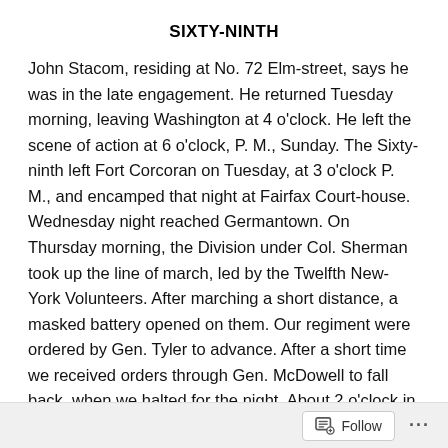SIXTY-NINTH
John Stacom, residing at No. 72 Elm-street, says he was in the late engagement. He returned Tuesday morning, leaving Washington at 4 o'clock. He left the scene of action at 6 o'clock, P. M., Sunday. The Sixty-ninth left Fort Corcoran on Tuesday, at 3 o'clock P. M., and encamped that night at Fairfax Court-house. Wednesday night reached Germantown. On Thursday morning, the Division under Col. Sherman took up the line of march, led by the Twelfth New-York Volunteers. After marching a short distance, a masked battery opened on them. Our regiment were ordered by Gen. Tyler to advance. After a short time we received orders through Gen. McDowell to fall back, when we halted for the night. About 2 o'clock in the
Follow ...